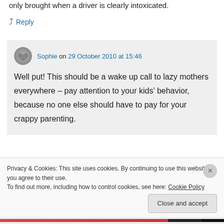only brought when a driver is clearly intoxicated.
↪ Reply
Sophie on 29 October 2010 at 15:46
Well put! This should be a wake up call to lazy mothers everywhere – pay attention to your kids' behavior, because no one else should have to pay for your crappy parenting.
Privacy & Cookies: This site uses cookies. By continuing to use this website, you agree to their use.
To find out more, including how to control cookies, see here: Cookie Policy
Close and accept